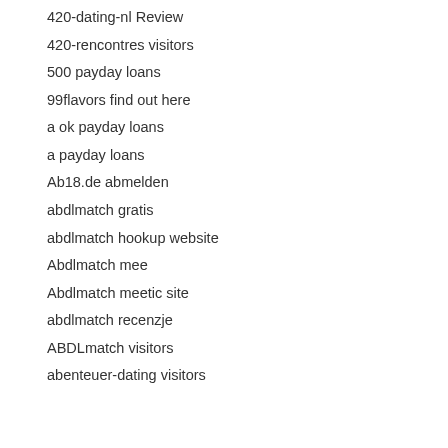420-dating-nl Review
420-rencontres visitors
500 payday loans
99flavors find out here
a ok payday loans
a payday loans
Ab18.de abmelden
abdlmatch gratis
abdlmatch hookup website
Abdlmatch mee
Abdlmatch meetic site
abdlmatch recenzje
ABDLmatch visitors
abenteuer-dating visitors